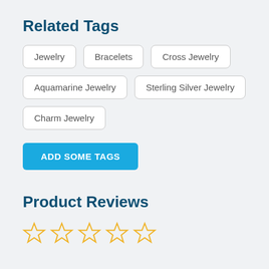Related Tags
Jewelry
Bracelets
Cross Jewelry
Aquamarine Jewelry
Sterling Silver Jewelry
Charm Jewelry
ADD SOME TAGS
Product Reviews
[Figure (other): Five empty star rating icons in gold/yellow outline]